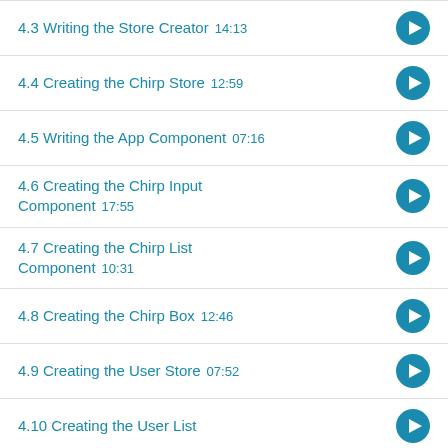4.3 Writing the Store Creator  14:13
4.4 Creating the Chirp Store  12:59
4.5 Writing the App Component  07:16
4.6 Creating the Chirp Input Component  17:55
4.7 Creating the Chirp List Component  10:31
4.8 Creating the Chirp Box  12:46
4.9 Creating the User Store  07:52
4.10 Creating the User List